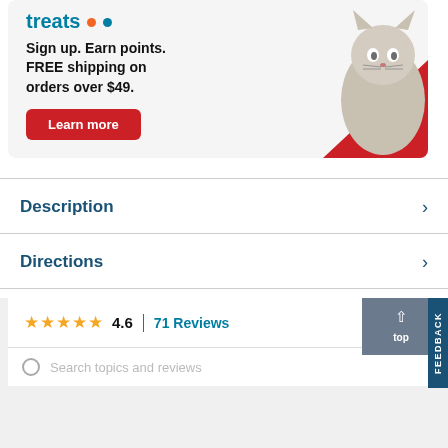[Figure (advertisement): Treats loyalty program banner ad with cat image. Text: 'treats' logo with orange and blue dots, 'Sign up. Earn points. FREE shipping on orders over $49.' with a red 'Learn more' button. Cat photo with red diagonal background element.]
Description
Directions
★★★★★ 4.6 | 71 Reviews
Search topics and reviews